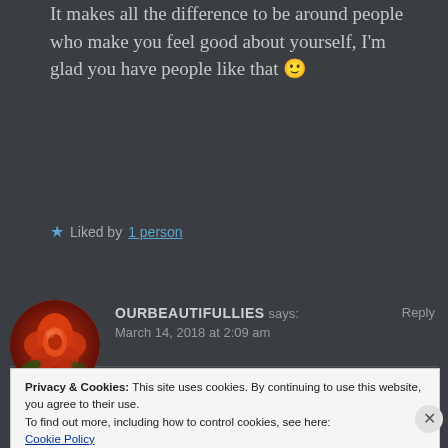It makes all the difference to be around people who make you feel good about yourself, I'm glad you have people like that 🙂
★ Liked by 1 person
OURBEAUTIFULLIES says: Reply
March 14, 2018 at 2:09 am
[Figure (photo): Avatar photo of an orange/red rose on dark background]
Privacy & Cookies: This site uses cookies. By continuing to use this website, you agree to their use.
To find out more, including how to control cookies, see here:
Cookie Policy
Close and accept